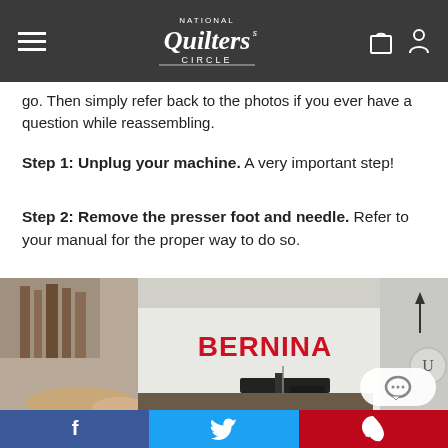National Quilters Circle
go. Then simply refer back to the photos if you ever have a question while reassembling.
Step 1: Unplug your machine. A very important step!
Step 2: Remove the presser foot and needle. Refer to your manual for the proper way to do so.
[Figure (photo): Close-up photo of a BERNINA sewing machine presser foot and needle area, showing the machine body with red BERNINA logo, needle mechanism, and a hand visible at the bottom]
Facebook Twitter Pinterest social share bar